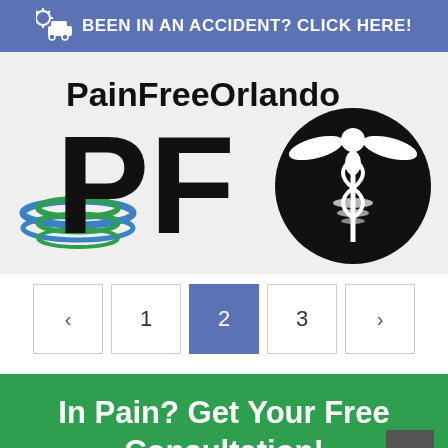BEEN IN AN ACCIDENT? CLICK HERE!
[Figure (logo): PainFreeOrlando PFO logo with caduceus symbol in a black circle and blue/green swirl on the left]
< 1 2 3 >
In Pain? Get Your Free Consultation!